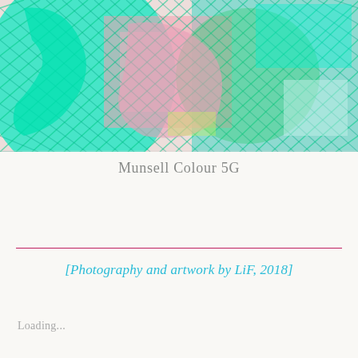[Figure (illustration): Abstract digital artwork with cyan/green hatched shapes and pink/salmon tones layered together, suggestive of a figure or objects, created in a crosshatch/crayon style.]
Munsell Colour 5G
[Photography and artwork by LiF, 2018]
Loading...